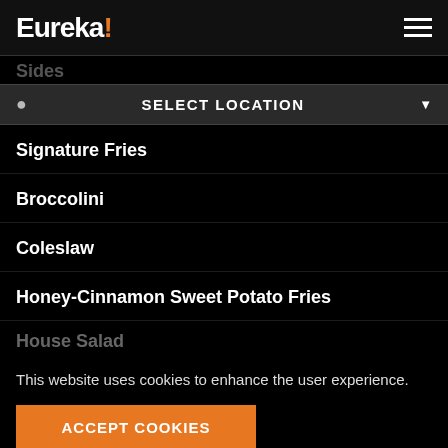Eureka!
Sides
SELECT LOCATION
Signature Fries
Broccolini
Coleslaw
Honey-Cinnamon Sweet Potato Fries
House Salad (partially visible)
This website uses cookies to enhance the user experience.
ACCEPT COOKIES